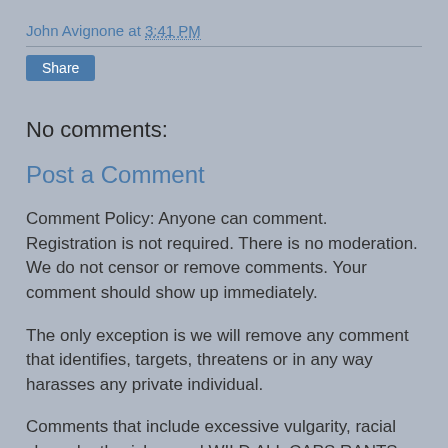John Avignone at 3:41 PM
Share
No comments:
Post a Comment
Comment Policy: Anyone can comment. Registration is not required. There is no moderation. We do not censor or remove comments. Your comment should show up immediately.
The only exception is we will remove any comment that identifies, targets, threatens or in any way harasses any private individual.
Comments that include excessive vulgarity, racial slurs, death wishes and WILD ALL CAPS RANTS may be featured.